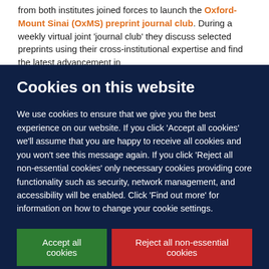from both institutes joined forces to launch the Oxford-Mount Sinai (OxMS) preprint journal club. During a weekly virtual joint 'journal club' they discuss selected preprints using their cross-institutional expertise and find the latest advancement in the area. This covers a few sections that are...
Cookies on this website
We use cookies to ensure that we give you the best experience on our website. If you click 'Accept all cookies' we'll assume that you are happy to receive all cookies and you won't see this message again. If you click 'Reject all non-essential cookies' only necessary cookies providing core functionality such as security, network management, and accessibility will be enabled. Click 'Find out more' for information on how to change your cookie settings.
Accept all cookies
Reject all non-essential cookies
Find out more